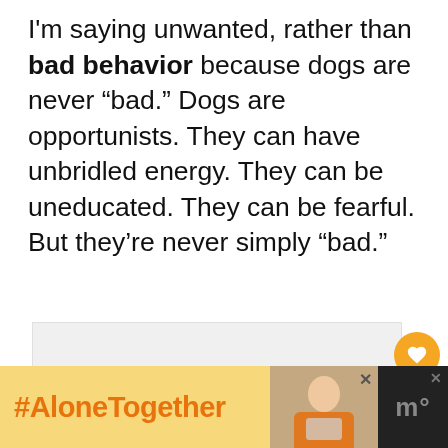I'm saying unwanted, rather than bad behavior because dogs are never “bad.” Dogs are opportunists. They can have unbridled energy. They can be uneducated. They can be fearful. But they’re never simply “bad.”
[Figure (photo): Carousel image placeholder area with dots navigation below]
[Figure (infographic): Advertisement banner at bottom: #AloneTogether hashtag on orange/yellow background, photo of a woman, dark panel with M logo and X close buttons]